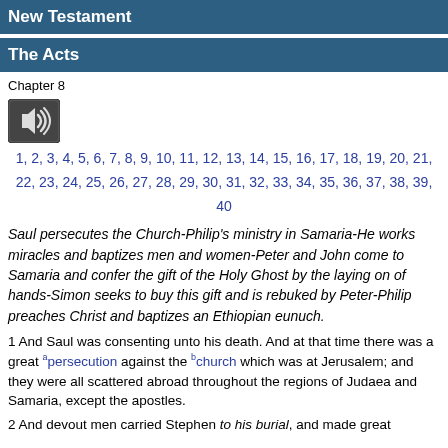New Testament
The Acts
Chapter 8
[Figure (other): Audio speaker icon button]
1, 2, 3, 4, 5, 6, 7, 8, 9, 10, 11, 12, 13, 14, 15, 16, 17, 18, 19, 20, 21, 22, 23, 24, 25, 26, 27, 28, 29, 30, 31, 32, 33, 34, 35, 36, 37, 38, 39, 40
Saul persecutes the Church-Philip's ministry in Samaria-He works miracles and baptizes men and women-Peter and John come to Samaria and confer the gift of the Holy Ghost by the laying on of hands-Simon seeks to buy this gift and is rebuked by Peter-Philip preaches Christ and baptizes an Ethiopian eunuch.
1 And Saul was consenting unto his death. And at that time there was a great persecution against the church which was at Jerusalem; and they were all scattered abroad throughout the regions of Judaea and Samaria, except the apostles.
2 And devout men carried Stephen to his burial, and made great